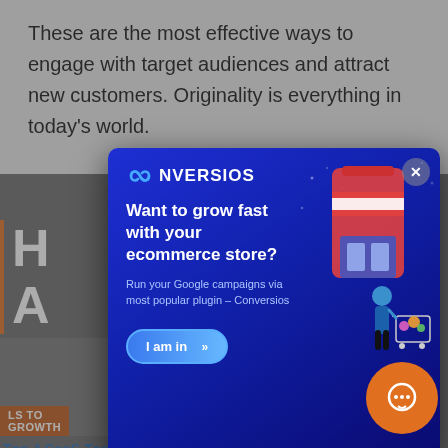These are the most effective ways to engage with target audiences and attract new customers. Originality is everything in today’s world.
H
A
[Figure (screenshot): Thumbnail image for Top 4 SaaS Tools to Help Business Growth in 2022 article with orange label reading 'LS TO GROWTH']
[Figure (screenshot): Thumbnail image for Great Tools for Improving and Boosting Your Keyword Research article with orange label reading 'TING']
Top 4 SaaS Tools to Help Business Growth in 2022
Great Tools for Improving and Boosting Your Keyword Research
[Figure (screenshot): Thumbnail image with letters S O C I visible]
[Figure (screenshot): Thumbnail image with green tool illustration]
[Figure (infographic): Conversios popup modal with dark blue gradient background. Logo showing infinity symbol and CONVERSIOS text. Headline: Want to grow fast with your ecommerce store? Subtext: Run your Google campaigns via most popular plugin - Conversios. Button: I am in >>. Right side shows ecommerce store illustration with woman and shopping cart.]